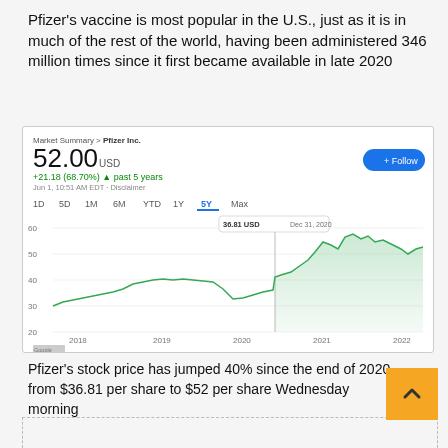Pfizer's vaccine is most popular in the U.S., just as it is in much of the rest of the world, having been administered 346 million times since it first became available in late 2020
[Figure (line-chart): Google Finance line chart showing Pfizer Inc. (PFE) stock price over 5 years (2018–2022). Price shown: 52.00 USD. +21.18 (68.70%) past 5 years. Jun 1, 10:51 AM EDT. Annotation: 36.81 USD Dec 31, 2020. Y-axis: 20, 30, 40, 50, 60. X-axis: 2018, 2019, 2020, 2021, 2022. 5Y tab selected.]
Pfizer's stock price has jumped 40% since the end of 2020, from $36.81 per share to $52 per share Wednesday morning